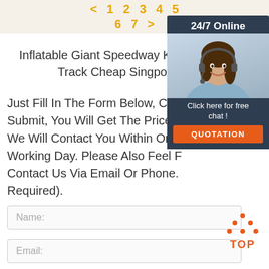< 1 2 3 4 5 6 7 >
Inflatable Giant Speedway Kart Race Track Cheap Singpore
Just Fill In The Form Below, Click Submit, You Will Get The Price List, We Will Contact You Within One Working Day. Please Also Feel Free To Contact Us Via Email Or Phone. (No Registration Required).
[Figure (other): 24/7 online chat widget with customer service representative photo and QUOTATION button]
Name:
Email:
[Figure (other): TOP back-to-top button with orange triangle icon]